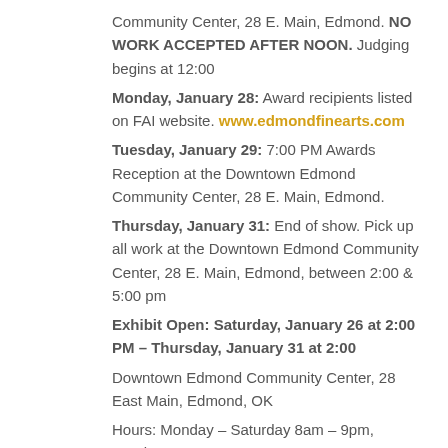Community Center, 28 E. Main, Edmond. NO WORK ACCEPTED AFTER NOON. Judging begins at 12:00
Monday, January 28: Award recipients listed on FAI website. www.edmondfinearts.com
Tuesday, January 29: 7:00 PM Awards Reception at the Downtown Edmond Community Center, 28 E. Main, Edmond.
Thursday, January 31: End of show. Pick up all work at the Downtown Edmond Community Center, 28 E. Main, Edmond, between 2:00 & 5:00 pm
Exhibit Open: Saturday, January 26 at 2:00 PM – Thursday, January 31 at 2:00
Downtown Edmond Community Center, 28 East Main, Edmond, OK
Hours: Monday – Saturday 8am – 9pm, Sunday 9am – 2pm